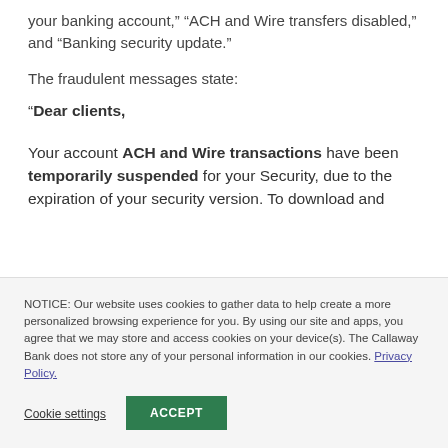your banking account,” “ACH and Wire transfers disabled,” and “Banking security update.”
The fraudulent messages state:
“Dear clients,
Your account ACH and Wire transactions have been temporarily suspended for your Security, due to the expiration of your security version. To download and
NOTICE: Our website uses cookies to gather data to help create a more personalized browsing experience for you. By using our site and apps, you agree that we may store and access cookies on your device(s). The Callaway Bank does not store any of your personal information in our cookies. Privacy Policy.
Cookie settings
ACCEPT